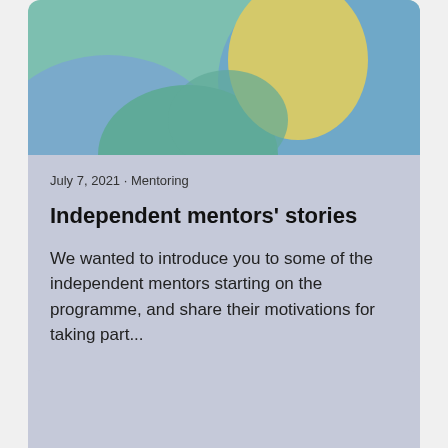[Figure (illustration): Abstract colorful illustration with green, blue, and yellow-green organic shapes on a light blue/green background, serving as a card header image]
July 7, 2021 · Mentoring
Independent mentors' stories
We wanted to introduce you to some of the independent mentors starting on the programme, and share their motivations for taking part...
Read more >